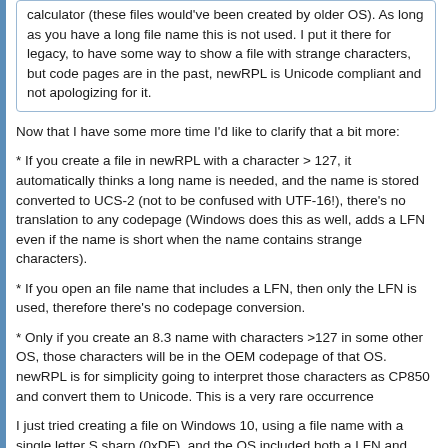calculator (these files would've been created by older OS). As long as you have a long file name this is not used. I put it there for legacy, to have some way to show a file with strange characters, but code pages are in the past, newRPL is Unicode compliant and not apologizing for it.
* If you create a file in newRPL with a character > 127, it automatically thinks a long name is needed, and the name is stored converted to UCS-2 (not to be confused with UTF-16!), there's no translation to any codepage (Windows does this as well, adds a LFN even if the name is short when the name contains strange characters).
* If you open an file name that includes a LFN, then only the LFN is used, therefore there's no codepage conversion.
* Only if you create an 8.3 name with characters >127 in some other OS, those characters will be in the OEM codepage of that OS. newRPL is for simplicity going to interpret those characters as CP850 and convert them to Unicode. This is a very rare occurrence
I just tried creating a file on Windows 10, using a file name with a single letter S sharp (0xDF), and the OS included both a LFN and SFN entries. The SFN used CP437, and when I put the card on the calculator, newRPL displayed the file properly, as it only